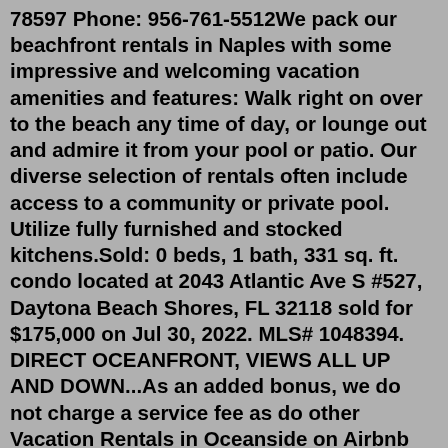78597 Phone: 956-761-5512We pack our beachfront rentals in Naples with some impressive and welcoming vacation amenities and features: Walk right on over to the beach any time of day, or lounge out and admire it from your pool or patio. Our diverse selection of rentals often include access to a community or private pool. Utilize fully furnished and stocked kitchens.Sold: 0 beds, 1 bath, 331 sq. ft. condo located at 2043 Atlantic Ave S #527, Daytona Beach Shores, FL 32118 sold for $175,000 on Jul 30, 2022. MLS# 1048394. DIRECT OCEANFRONT, VIEWS ALL UP AND DOWN...As an added bonus, we do not charge a service fee as do other Vacation Rentals in Oceanside on Airbnb and Vrbo. Most of all, we look forward to helping you select the perfect San Diego beachfront rental or California beachfront vacation rental. Logan 442 444-8357. Kim 760 470- 4235. Oceanfront, FL Cheap Homes for Sale 11 Homes under $310,000 in Oceanfront List Tile Map Sort by 5555 Collins Ave 5P, Miami Beach, FL 33140 1 Bath